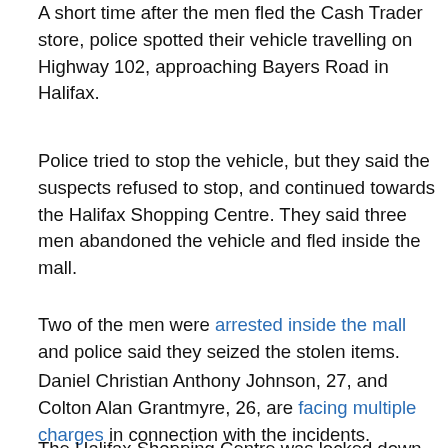A short time after the men fled the Cash Trader store, police spotted their vehicle travelling on Highway 102, approaching Bayers Road in Halifax.
Police tried to stop the vehicle, but they said the suspects refused to stop, and continued towards the Halifax Shopping Centre. They said three men abandoned the vehicle and fled inside the mall.
Two of the men were arrested inside the mall and police said they seized the stolen items.
Daniel Christian Anthony Johnson, 27, and Colton Alan Grantmyre, 26, are facing multiple charges in connection with the incidents.
The Halifax Shopping Centre was locked down